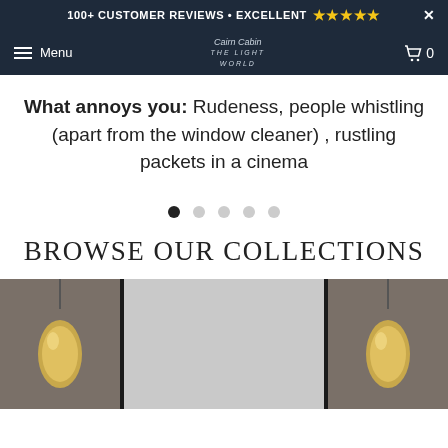100+ CUSTOMER REVIEWS • EXCELLENT ★★★★★
Menu | [Logo] | Cart 0
What annoys you: Rudeness, people whistling (apart from the window cleaner) , rustling packets in a cinema
[Figure (other): Carousel pagination dots — 5 dots, first one filled/active]
BROWSE OUR COLLECTIONS
[Figure (photo): Photo strip showing three panels: left and right panels show gold teardrop pendant lamps against a white brick wall; center panel is a plain light gray rectangle]